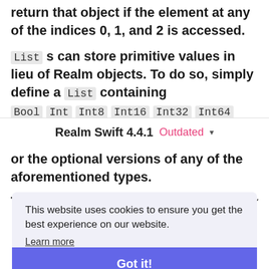return that object if the element at any of the indices 0, 1, and 2 is accessed.
Lists can store primitive values in lieu of Realm objects. To do so, simply define a List containing Bool, Int, Int8, Int16, Int32, Int64
Realm Swift 4.4.1  Outdated
or the optional versions of any of the aforementioned types.
To add a dogs property on our Person model
This website uses cookies to ensure you get the best experience on our website. Learn more
Got it!